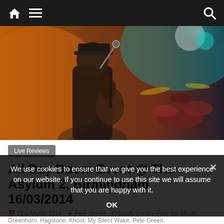Navigation bar with home, menu, and search icons
[Figure (photo): Concert photo of a musician performing on stage, singing into a microphone while playing guitar. Stage lighting in orange, red, and teal. Drum kit visible in background.]
Live Reviews
All Day Doom Event @ The Asylum 2, Birmingham 16/03/2014
21st March 2014   Pete Green   Bach, Conan, Fear Me Music, Greenhorn, Hagstone, Khost, My Silent Wake, Pete Green, The Asylum2, Victorian Whore Dogs, Witch Charmer
We use cookies to ensure that we give you the best experience on our website. If you continue to use this site we will assume that you are happy with it. OK